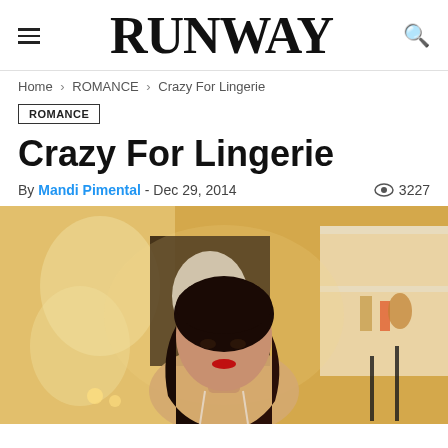RUNWAY
Home > ROMANCE > Crazy For Lingerie
ROMANCE
Crazy For Lingerie
By Mandi Pimental - Dec 29, 2014   3227
[Figure (photo): A dark-haired woman in lingerie poses in a warmly lit, ornate room with lace curtains and shelves of accessories in the background.]